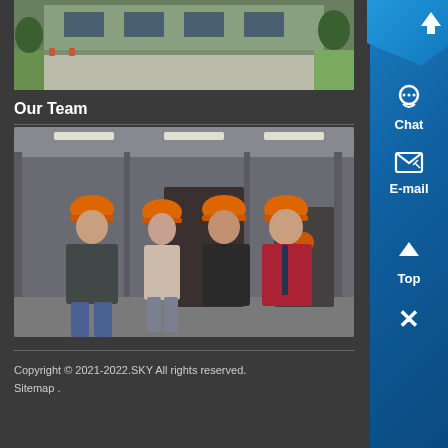[Figure (photo): Partial view of a building exterior with green grass, driveway and trees in background]
Our Team
[Figure (photo): Four people wearing orange hard hats standing together inside an industrial factory/warehouse]
Copyright © 2021-2022.SKY All rights reserved.
Sitemap .